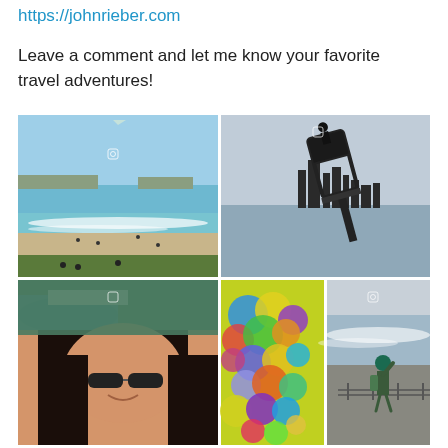https://johnrieber.com
Leave a comment and let me know your favorite travel adventures!
[Figure (photo): A 2x2 grid of travel photos: top-left shows Bondi Beach Sydney with blue water and sandy beach; top-right shows an artistic tilted photo of a lifeguard tower with Chicago skyline in background; bottom-left shows aerial coastline view with a woman smiling in foreground; bottom-middle shows colorful abstract flowers/mosaic in blue yellow purple; bottom-right shows a person standing on a rocky beach waving.]